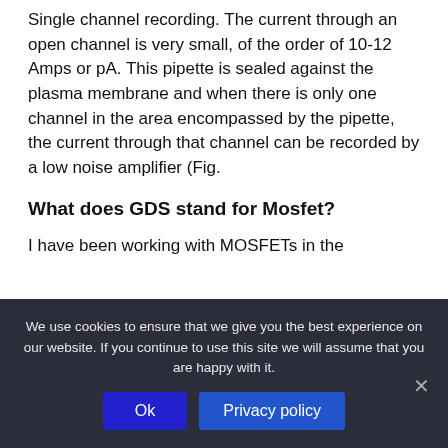Single channel recording. The current through an open channel is very small, of the order of 10-12 Amps or pA. This pipette is sealed against the plasma membrane and when there is only one channel in the area encompassed by the pipette, the current through that channel can be recorded by a low noise amplifier (Fig.
What does GDS stand for Mosfet?
I have been working with MOSFETs in the
We use cookies to ensure that we give you the best experience on our website. If you continue to use this site we will assume that you are happy with it.